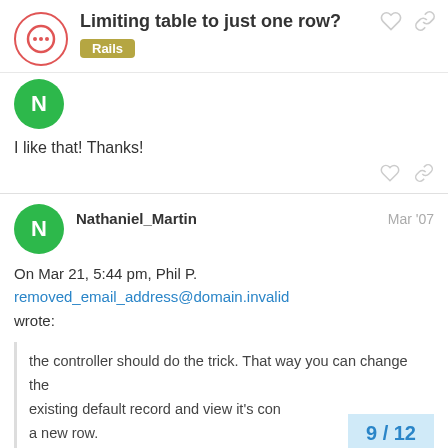Limiting table to just one row? Rails
[Figure (logo): Discourse forum logo - circular red border with chat bubble icon]
[Figure (illustration): Green circular avatar with letter N]
I like that! Thanks!
Nathaniel_Martin  Mar '07
On Mar 21, 5:44 pm, Phil P.
removed_email_address@domain.invalid
wrote:
the controller should do the trick. That way you can change the
existing default record and view it's con
a new row.
9 / 12